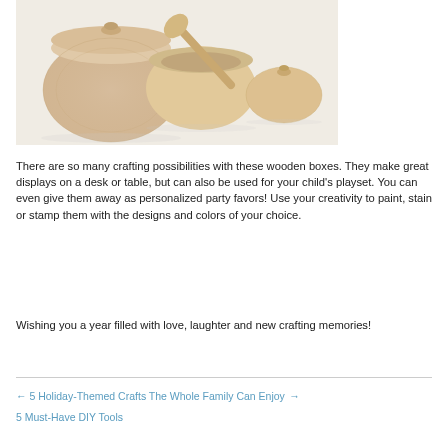[Figure (photo): Three unfinished wooden boxes/containers with lids and a small wooden spoon, photographed on a white background.]
There are so many crafting possibilities with these wooden boxes. They make great displays on a desk or table, but can also be used for your child's playset. You can even give them away as personalized party favors! Use your creativity to paint, stain or stamp them with the designs and colors of your choice.
Wishing you a year filled with love, laughter and new crafting memories!
← 5 Holiday-Themed Crafts The Whole Family Can Enjoy → 5 Must-Have DIY Tools